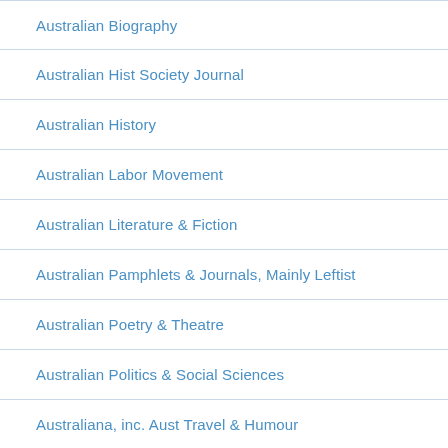Australian Biography
Australian Hist Society Journal
Australian History
Australian Labor Movement
Australian Literature & Fiction
Australian Pamphlets & Journals, Mainly Leftist
Australian Poetry & Theatre
Australian Politics & Social Sciences
Australiana, inc. Aust Travel & Humour